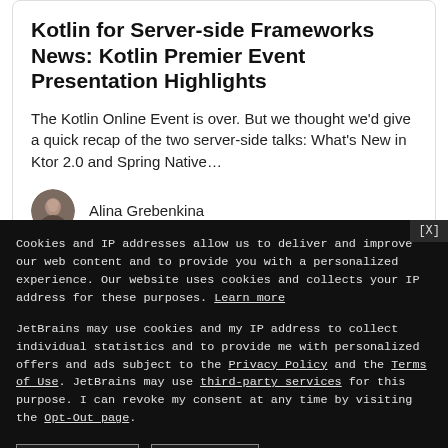Kotlin for Server-side Frameworks News: Kotlin Premier Event Presentation Highlights
The Kotlin Online Event is over. But we thought we'd give a quick recap of the two server-side talks: What's New in Ktor 2.0 and Spring Native…
Alina Grebenkina
Cookies and IP addresses allow us to deliver and improve our web content and to provide you with a personalized experience. Our website uses cookies and collects your IP address for these purposes. Learn more
JetBrains may use cookies and my IP address to collect individual statistics and to provide me with personalized offers and ads subject to the Privacy Policy and the Terms of Use. JetBrains may use third-party services for this purpose. I can revoke my consent at any time by visiting the Opt-Out page.
[Yes, I agree]
[No, thanks]